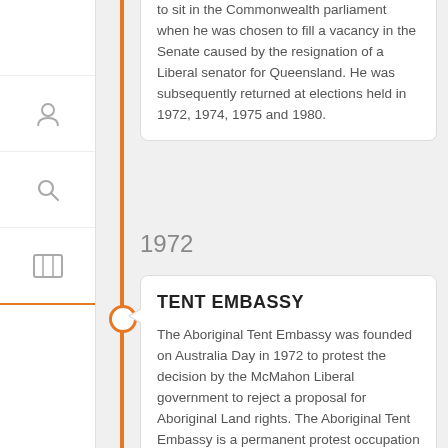to sit in the Commonwealth parliament when he was chosen to fill a vacancy in the Senate caused by the resignation of a Liberal senator for Queensland. He was subsequently returned at elections held in 1972, 1974, 1975 and 1980.
1972
TENT EMBASSY
The Aboriginal Tent Embassy was founded on Australia Day in 1972 to protest the decision by the McMahon Liberal government to reject a proposal for Aboriginal Land rights. The Aboriginal Tent Embassy is a permanent protest occupation where residing activists claim to